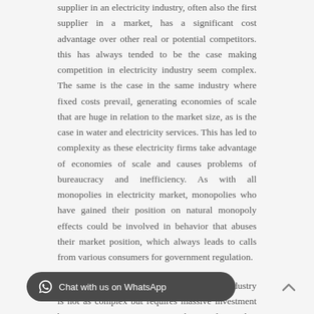supplier in an electricity industry, often also the first supplier in a market, has a significant cost advantage over other real or potential competitors. this has always tended to be the case making competition in electricity industry seem complex. The same is the case in the same industry where fixed costs prevail, generating economies of scale that are huge in relation to the market size, as is the case in water and electricity services. This has led to complexity as these electricity firms take advantage of economies of scale and causes problems of bureaucracy and inefficiency. As with all monopolies in electricity market, monopolies who have gained their position on natural monopoly effects could be involved in behavior that abuses their market position, which always leads to calls from various consumers for government regulation.
Encouraging competition in the electricity industry is not as complex but requires massive investment by private sector investment as the initial capital is many times massive thus discouraging players and this minimized competition. This would especially start with deregulation [text obscured] and these go a long way in